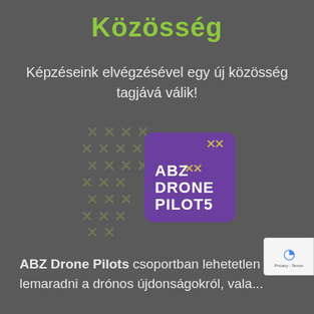Közösség
Képzéseink elvégzésével egy új közösség tagjává válik!
[Figure (logo): ABZ Drone Pilots logo: purple rounded square with ABZ XX DRONE PILOTS text and yellow X marks, on a grey background with faded X cross pattern]
ABZ Drone Pilots csoportban lehetetlen lemaradni a drónos újdonságokról, vala...